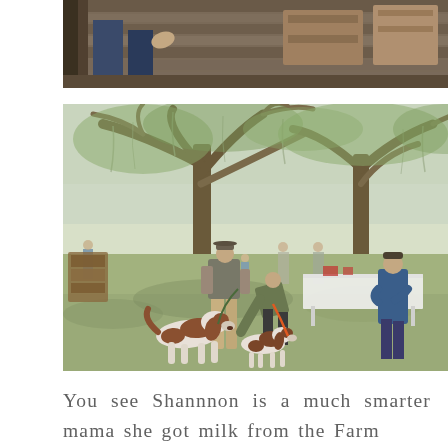[Figure (photo): A partial view of a workshop or farm scene from above, showing wooden crates or boxes and people's legs/hands. Dark tones with wooden elements.]
[Figure (photo): Outdoor farm or estate gathering under large live oak trees draped with Spanish moss. Several people standing on a grass lawn, two brown-and-white dogs (spaniels) in the foreground. White-clothed tables visible in background right. One person in green jacket bends toward the dogs.]
You see Shannnon is a much smarter mama she got milk from the Farm